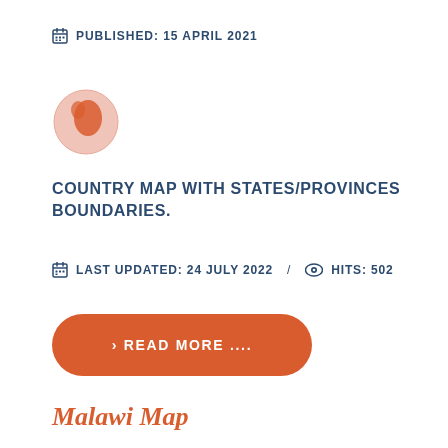PUBLISHED: 15 APRIL 2021
[Figure (illustration): Globe icon showing Africa and Europe in orange/salmon tones on a light pink background, circular shape]
COUNTRY MAP WITH STATES/PROVINCES BOUNDARIES.
LAST UPDATED: 24 JULY 2022  /  HITS: 502
> READ MORE ....
Malawi Map